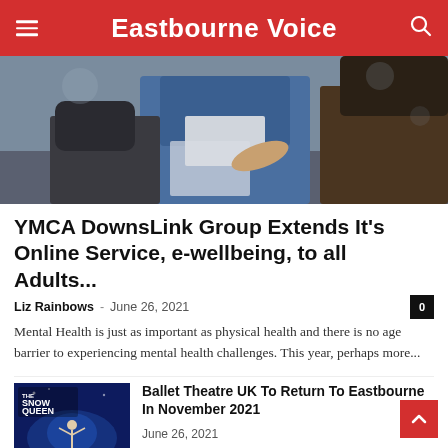Eastbourne Voice
[Figure (photo): Two people sitting at a table, one in a denim jacket gesturing toward a laptop screen, in a café or office setting.]
YMCA DownsLink Group Extends It’s Online Service, e-wellbeing, to all Adults...
Liz Rainbows – June 26, 2021
Mental Health is just as important as physical health and there is no age barrier to experiencing mental health challenges. This year, perhaps more...
[Figure (photo): Ballet poster for The Snow Queen showing a dancer in a blue-lit stage setting.]
Ballet Theatre UK To Return To Eastbourne In November 2021
June 26, 2021
[Figure (photo): Dark thumbnail image for a third article at the bottom of the page.]